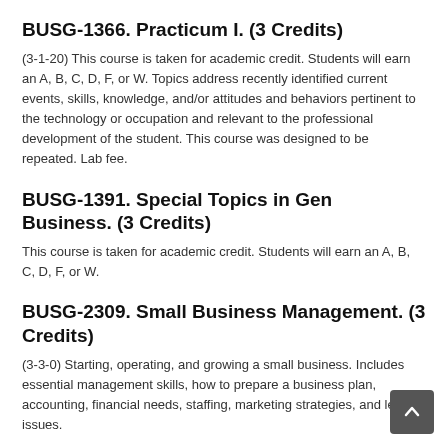BUSG-1366. Practicum I. (3 Credits)
(3-1-20) This course is taken for academic credit. Students will earn an A, B, C, D, F, or W. Topics address recently identified current events, skills, knowledge, and/or attitudes and behaviors pertinent to the technology or occupation and relevant to the professional development of the student. This course was designed to be repeated. Lab fee.
BUSG-1391. Special Topics in Gen Business. (3 Credits)
This course is taken for academic credit. Students will earn an A, B, C, D, F, or W.
BUSG-2309. Small Business Management. (3 Credits)
(3-3-0) Starting, operating, and growing a small business. Includes essential management skills, how to prepare a business plan, accounting, financial needs, staffing, marketing strategies, and legal issues.